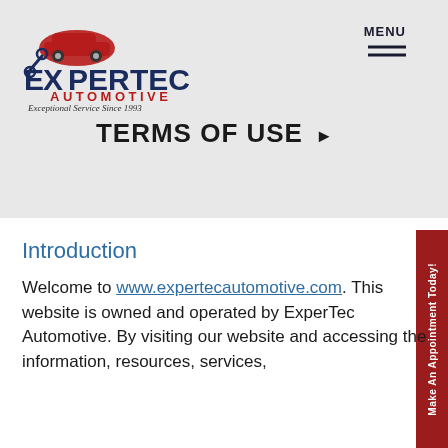[Figure (logo): ExperTec Automotive logo with red car icon, wrench, EXPERTEC text in navy blue, AUTOMOTIVE in red, and italic tagline 'Exceptional Service Since 1993']
TERMS OF USE ▶
Introduction
Welcome to www.expertecautomotive.com. This website is owned and operated by ExperTec Automotive. By visiting our website and accessing the information, resources, services,